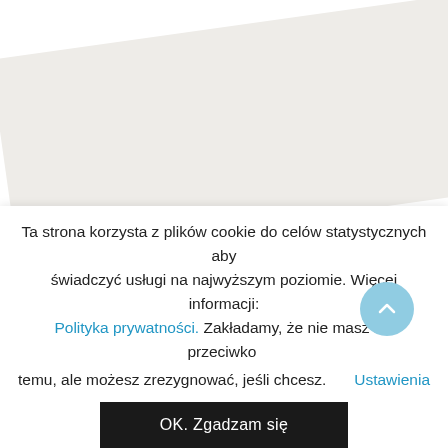[Figure (illustration): White background with a diagonal light gray band across the upper portion of the page, forming a decorative background element.]
Kupując The Light Book, wspierasz Project
Ta strona korzysta z plików cookie do celów statystycznych aby świadczyć usługi na najwyższym poziomie. Więcej informacji: Polityka prywatności. Zakładamy, że nie masz nic przeciwko temu, ale możesz zrezygnować, jeśli chcesz. Ustawienia
OK. Zgadzam się